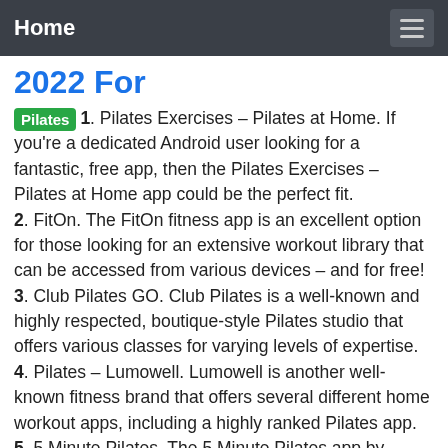Home
2022 For
1. Pilates Exercises – Pilates at Home. If you're a dedicated Android user looking for a fantastic, free app, then the Pilates Exercises – Pilates at Home app could be the perfect fit.
2. FitOn. The FitOn fitness app is an excellent option for those looking for an extensive workout library that can be accessed from various devices – and for free!
3. Club Pilates GO. Club Pilates is a well-known and highly respected, boutique-style Pilates studio that offers various classes for varying levels of expertise.
4. Pilates – Lumowell. Lumowell is another well-known fitness brand that offers several different home workout apps, including a highly ranked Pilates app.
5. 5 Minute Pilates. The 5 Minute Pilates app by Olson Applications Limited is an excellent, beginner-friendly option